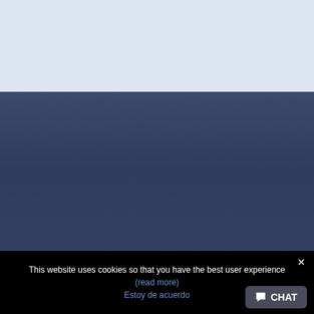[Figure (other): Light blue-grey background section at the top of the page]
[Figure (other): Dark navy/blue-grey gradient background section in the middle of the page]
This website uses cookies so that you have the best user experience
(read more)
Estoy de acuerdo